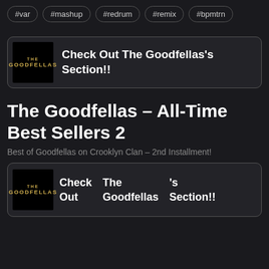#var #mashup #redrum #remix #bpmtrn
[Figure (other): The Goodfellas logo banner card with text: Check Out The Goodfellas's Section!!]
The Goodfellas – All-Time Best Sellers 2
Best of Goodfellas on Crooklyn Clan – 2nd Installment!
[Figure (other): The Goodfellas logo card split into columns: Check Out | The Goodfellas | 's Section!!]